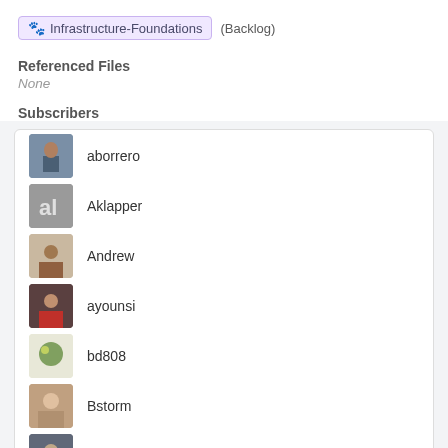Infrastructure-Foundations (Backlog)
Referenced Files
None
Subscribers
aborrero
Aklapper
Andrew
ayounsi
bd808
Bstorm
faidon
View All 12 Subscribers
Description